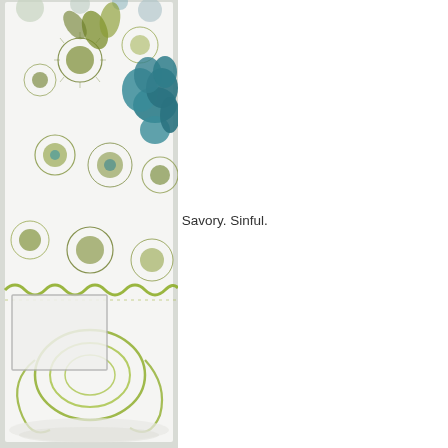Belle Papier
Beth and Susan Opel
Betsy Veldman
bibbis dillerier
Bittersweet Designs
Blackbirds & Bumblebees
Blue Cricket Design
Bluebird Notes
Bluebonnets & Brownies
Brown Eyed Baker | Sweet. Savory. Sinful.
Candice Carpenter
Card of the Week
CARDS
Carol Wingert
Carolyn Peeler
Cath Edvalson
Caz Hancock
celeste rockwood-jones
[Figure (photo): A handmade craft card featuring olive green stamped botanical/floral designs including circular dotted patterns, scrolling ribbon motif at bottom, and a large teal/blue felt flower embellishment in the upper right corner, on a white textured background with lace edge accents.]